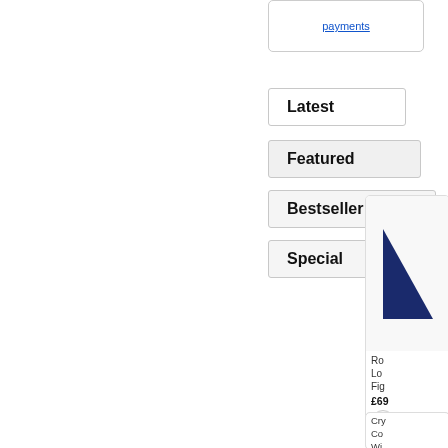[Figure (screenshot): Partial view of a payments link at top right]
Latest
Featured
Bestseller
Special
[Figure (photo): Product card partially visible on right: dark blue triangular figurine. Name starts with 'Ro', description lines 'Lo', 'Fig', price £69...]
Ro
Lo
Fig
£69
[Figure (photo): Product card partially visible on right: slim dark device. Name starts with 'Cry', lines 'Co', 'Wi', 'set', price £29...]
Cry
Co
Wi
set
£29